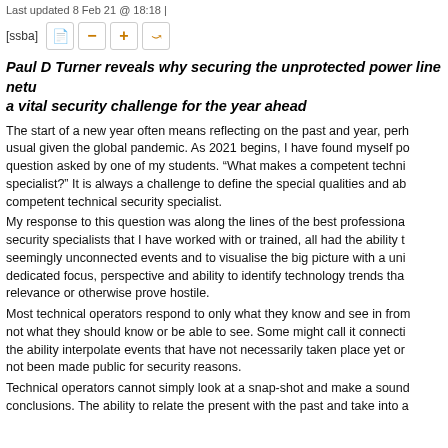Last updated 8 Feb 21 @ 18:18 |
Paul D Turner reveals why securing the unprotected power line network is a vital security challenge for the year ahead
The start of a new year often means reflecting on the past and year, perhaps more so than usual given the global pandemic. As 2021 begins, I have found myself pondering a question asked by one of my students. “What makes a competent technical security specialist?” It is always a challenge to define the special qualities and abilities that make a competent technical security specialist.
My response to this question was along the lines of the best professionals and technical security specialists that I have worked with or trained, all had the ability to connect seemingly unconnected events and to visualise the big picture with a unique and dedicated focus, perspective and ability to identify technology trends that have future relevance or otherwise prove hostile.
Most technical operators respond to only what they know and see in front of them, not what they should know or be able to see. Some might call it connecting the dots, the ability interpolate events that have not necessarily taken place yet or have not been made public for security reasons.
Technical operators cannot simply look at a snap-shot and make a sound conclusions. The ability to relate the present with the past and take into consideration the probable awareness of the future is an essential trait of a great technical